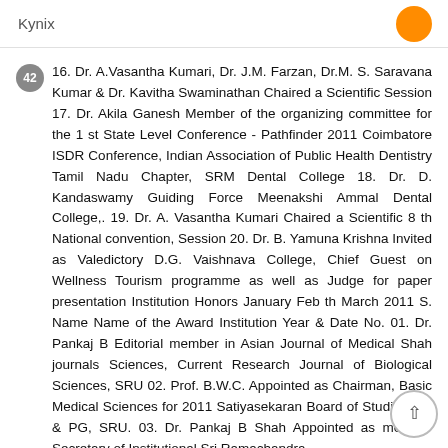Kynix
42  16. Dr. A.Vasantha Kumari, Dr. J.M. Farzan, Dr.M. S. Saravana Kumar & Dr. Kavitha Swaminathan Chaired a Scientific Session 17. Dr. Akila Ganesh Member of the organizing committee for the 1 st State Level Conference - Pathfinder 2011 Coimbatore ISDR Conference, Indian Association of Public Health Dentistry Tamil Nadu Chapter, SRM Dental College 18. Dr. D. Kandaswamy Guiding Force Meenakshi Ammal Dental College,. 19. Dr. A. Vasantha Kumari Chaired a Scientific 8 th National convention, Session 20. Dr. B. Yamuna Krishna Invited as Valedictory D.G. Vaishnava College, Chief Guest on Wellness Tourism programme as well as Judge for paper presentation Institution Honors January Feb th March 2011 S. Name Name of the Award Institution Year & Date No. 01. Dr. Pankaj B Editorial member in Asian Journal of Medical Shah journals Sciences, Current Research Journal of Biological Sciences, SRU 02. Prof. B.W.C. Appointed as Chairman, Basic Medical Sciences for 2011 Satiyasekaran Board of Studies UG & PG, SRU. 03. Dr. Pankaj B Shah Appointed as member Secretary of Institutional Sri Ramachandra